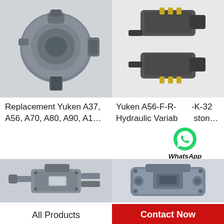[Figure (photo): Hydraulic piston pump, dark grey, compact body with splined shaft - top left product photo]
[Figure (photo): Yuken hydraulic variable piston pump/motor assembly in black and grey with yellow fittings - top right product photo]
Replacement Yuken A37, A56, A70, A80, A90, A1…
Yuken A56-F-R-04-B-K-32 Hydraulic Variable Piston…
WhatsApp Online
[Figure (photo): Yuken hydraulic pump/valve assembly, dark grey metal with multiple ports - bottom left product photo]
[Figure (photo): Large blue-grey hydraulic piston pump with mounting plate - bottom right product photo]
All Products
Contact Now